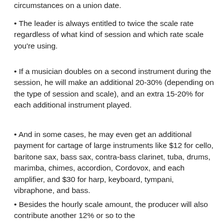circumstances on a union date.
• The leader is always entitled to twice the scale rate regardless of what kind of session and which rate scale you're using.
• If a musician doubles on a second instrument during the session, he will make an additional 20-30% (depending on the type of session and scale), and an extra 15-20% for each additional instrument played.
• And in some cases, he may even get an additional payment for cartage of large instruments like $12 for cello, baritone sax, bass sax, contra-bass clarinet, tuba, drums, marimba, chimes, accordion, Cordovox, and each amplifier, and $30 for harp, keyboard, tympani, vibraphone, and bass.
• Besides the hourly scale amount, the producer will also contribute another 12% or so to the musician's pension for each additional 8%...